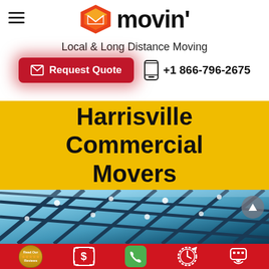[Figure (logo): Movin' moving company logo with orange/red hexagon icon and 'movin'' wordmark]
Local & Long Distance Moving
Request Quote
+1 866-796-2675
Harrisville Commercial Movers
[Figure (photo): Glass atrium ceiling with diagonal steel beams and bright sky, representing commercial building]
[Figure (infographic): Red bottom bar with 5 icons: Read Our Reviews badge, dollar sign quote icon, green phone icon, clock icon, chat bubble icon]